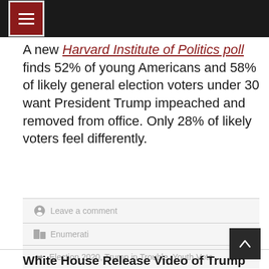[Menu icon bar]
A new Harvard Institute of Politics poll finds 52% of young Americans and 58% of likely general election voters under 30 want President Trump impeached and removed from office. Only 28% of likely voters feel differently.
Leave a comment
Enumerati
Election 2020, Trump in Trouble, Youth Vote
White House Release Video of Trump Calling Hearings a ‘Scam’